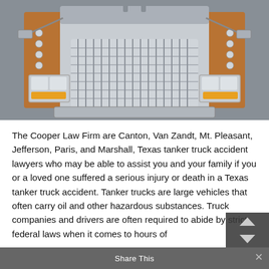[Figure (photo): Front-facing close-up photograph of a large semi-truck / tanker truck showing the chrome grille, headlights, bumper, and cab. The truck has an orange/gold cab with a large chrome grille in the center. Background is grey.]
The Cooper Law Firm are Canton, Van Zandt, Mt. Pleasant, Jefferson, Paris, and Marshall, Texas tanker truck accident lawyers who may be able to assist you and your family if you or a loved one suffered a serious injury or death in a Texas tanker truck accident. Tanker trucks are large vehicles that often carry oil and other hazardous substances. Truck companies and drivers are often required to abide by strict federal laws when it comes to hours of